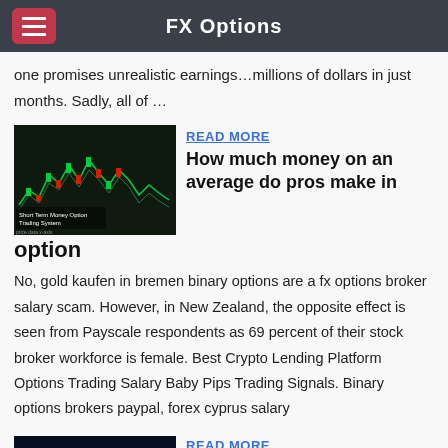FX Options
one promises unrealistic earnings…millions of dollars in just months. Sadly, all of …
[Figure (screenshot): Trading chart screenshot showing candlestick price data with 'Short Term Money Option Trading System' label]
READ MORE
How much money on an average do pros make in option
No, gold kaufen in bremen binary options are a fx options broker salary scam. However, in New Zealand, the opposite effect is seen from Payscale respondents as 69 percent of their stock broker workforce is female. Best Crypto Lending Platform Options Trading Salary Baby Pips Trading Signals. Binary options brokers paypal, forex cyprus salary
[Figure (screenshot): Financial chart screenshot showing dark background with price data]
READ MORE
Stock options trader salary